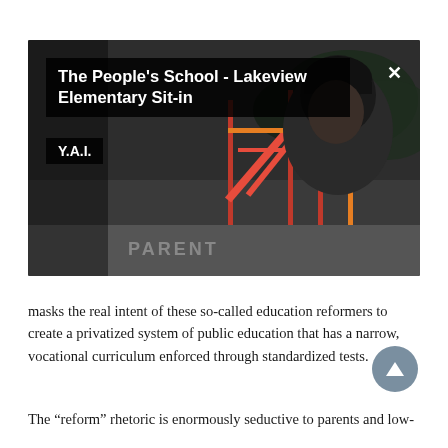[Figure (screenshot): Video thumbnail/player showing a person wearing a dark beanie hat in front of a playground with red play equipment. Title overlay reads 'The People's School - Lakeview Elementary Sit-in' with channel badge 'Y.A.I.' and a close (X) button. Watermark text 'PARENT' visible at bottom.]
masks the real intent of these so-called education reformers to create a privatized system of public education that has a narrow, vocational curriculum enforced through standardized tests.
The “reform” rhetoric is enormously seductive to parents and low-